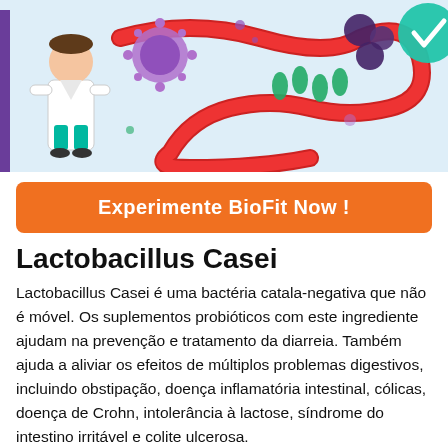[Figure (illustration): Medical illustration showing a scientist/doctor in white coat on the left, a stylized red intestinal tract winding across a light blue background, with various colorful bacteria/microorganism illustrations (purple, green, dark purple), and a green circle with a white checkmark on the right.]
Experimente BioFit Now !
Lactobacillus Casei
Lactobacillus Casei é uma bactéria catala-negativa que não é móvel. Os suplementos probióticos com este ingrediente ajudam na prevenção e tratamento da diarreia. Também ajuda a aliviar os efeitos de múltiplos problemas digestivos, incluindo obstipação, doença inflamatória intestinal, cólicas, doença de Crohn, intolerância à lactose, síndrome do intestino irritável e colite ulcerosa.